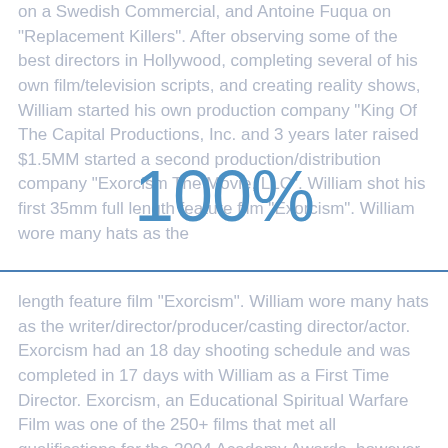on a Swedish Commercial, and Antoine Fuqua on "Replacement Killers". After observing some of the best directors in Hollywood, completing several of his own film/television scripts, and creating reality shows, William started his own production company "King Of The Capital Productions, Inc. and 3 years later raised $1.5MM started a second production/distribution company "Exorcism The Movie, LLC". William shot his first 35mm full length feature film "Exorcism".
[Figure (infographic): Large '100%' displayed in blue text overlaid on the page content]
length feature film "Exorcism". William wore many hats as the writer/director/producer/casting director/actor. Exorcism had an 18 day shooting schedule and was completed in 17 days with William as a First Time Director. Exorcism, an Educational Spiritual Warfare Film was one of the 250+ films that met all qualifications for the 2004 Academy Awards, however William's first film was entered too late for the